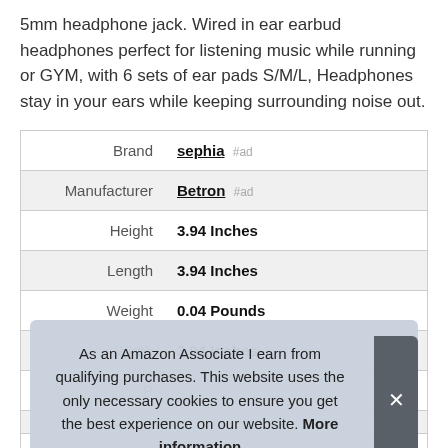5mm headphone jack. Wired in ear earbud headphones perfect for listening music while running or GYM, with 6 sets of ear pads S/M/L, Headphones stay in your ears while keeping surrounding noise out.
|  |  |
| --- | --- |
| Brand | sephia #ad |
| Manufacturer | Betron #ad |
| Height | 3.94 Inches |
| Length | 3.94 Inches |
| Weight | 0.04 Pounds |
| Width | 3.94 Inches |
| P |  |
|  |  |
| Warranty | defects |
As an Amazon Associate I earn from qualifying purchases. This website uses the only necessary cookies to ensure you get the best experience on our website. More information